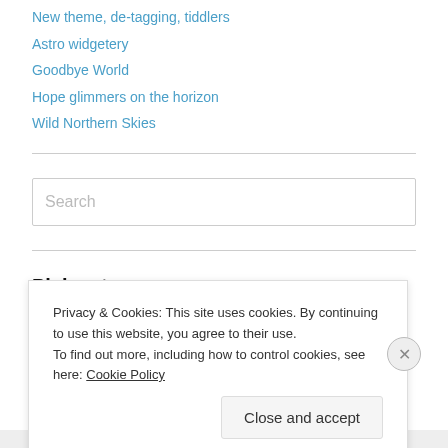New theme, de-tagging, tiddlers
Astro widgetery
Goodbye World
Hope glimmers on the horizon
Wild Northern Skies
Search
Pick category
Select Category
Privacy & Cookies: This site uses cookies. By continuing to use this website, you agree to their use.
To find out more, including how to control cookies, see here: Cookie Policy
Close and accept